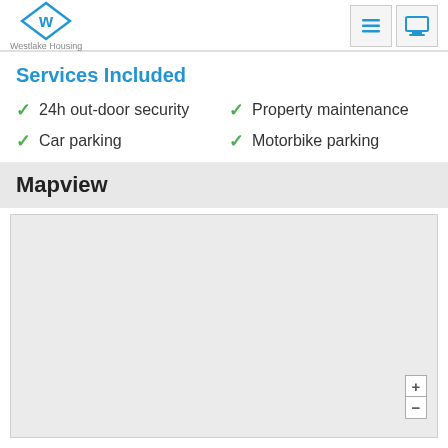Westlake Housing
Services Included
24h out-door security
Car parking
Property maintenance
Motorbike parking
Mapview
[Figure (map): Empty map view placeholder with light grey background and zoom controls]